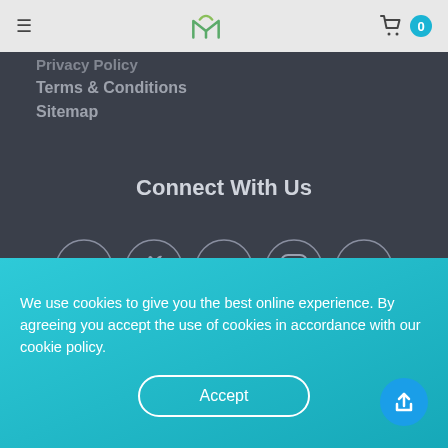Navigation bar with logo, hamburger menu, and cart (0)
Privacy Policy
Terms & Conditions
Sitemap
Connect With Us
[Figure (infographic): Social media icons in circles: Facebook, Twitter, YouTube, Instagram, WeChat, LinkedIn, Pinterest, RSS]
We use cookies to give you the best online experience. By agreeing you accept the use of cookies in accordance with our cookie policy.
Accept